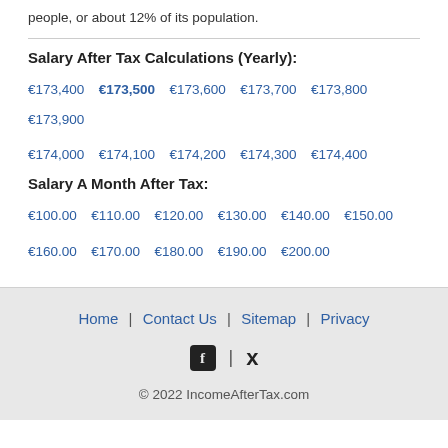people, or about 12% of its population.
Salary After Tax Calculations (Yearly):
€173,400  €173,500  €173,600  €173,700  €173,800  €173,900  €174,000  €174,100  €174,200  €174,300  €174,400
Salary A Month After Tax:
€100.00  €110.00  €120.00  €130.00  €140.00  €150.00  €160.00  €170.00  €180.00  €190.00  €200.00
Home | Contact Us | Sitemap | Privacy  © 2022 IncomeAfterTax.com